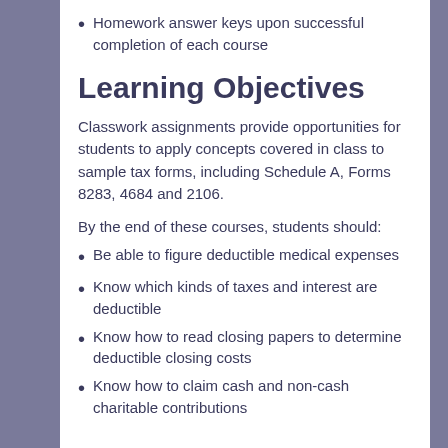Homework answer keys upon successful completion of each course
Learning Objectives
Classwork assignments provide opportunities for students to apply concepts covered in class to sample tax forms, including Schedule A, Forms 8283, 4684 and 2106.
By the end of these courses, students should:
Be able to figure deductible medical expenses
Know which kinds of taxes and interest are deductible
Know how to read closing papers to determine deductible closing costs
Know how to claim cash and non-cash charitable contributions